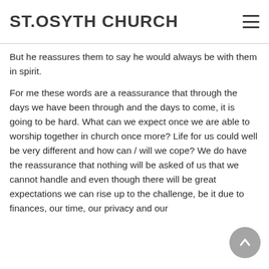ST.OSYTH CHURCH
But he reassures them to say he would always be with them in spirit.
For me these words are a reassurance that through the days we have been through and the days to come, it is going to be hard. What can we expect once we are able to worship together in church once more? Life for us could well be very different and how can / will we cope? We do have the reassurance that nothing will be asked of us that we cannot handle and even though there will be great expectations we can rise up to the challenge, be it due to finances, our time, our privacy and our